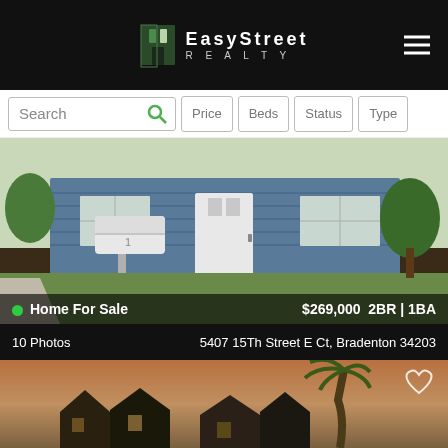EasyStreet Realty
Search | Price | Beds | Status | Type
[Figure (photo): Exterior photo of a blue house with white mailbox, front door, and landscaping]
Home For Sale   $269,000  2BR | 1BA
10 Photos   5407 15Th Street E Ct, Bradenton 34203
[Figure (photo): Sunset photo of a house with palm tree in foreground]
Call to Schedule a Showing
(813) 452-4165